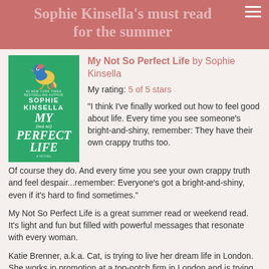Sophie Kinsella's must read for the summer
[Figure (illustration): Book cover of 'My Not So Perfect Life' by Sophie Kinsella — green background with a colorful bird illustration and bold white text]
My Not So Perfect Life by Sophie Kinsella
My rating: 5 of 5 stars
"I think I've finally worked out how to feel good about life. Every time you see someone's bright-and-shiny, remember: They have their own crappy truths too. Of course they do. And every time you see your own crappy truth and feel despair...remember: Everyone's got a bright-and-shiny, even if it's hard to find sometimes."
My Not So Perfect Life is a great summer read or weekend read. It's light and fun but filled with powerful messages that resonate with every woman.
Katie Brenner, a.k.a. Cat, is trying to live her dream life in London. She works in promotion at a top-notch firm in London and is trying to make it work. London, she quickly learns, is a far cry from her rural life, however, and things start to fall apart. When she comes back to reading...